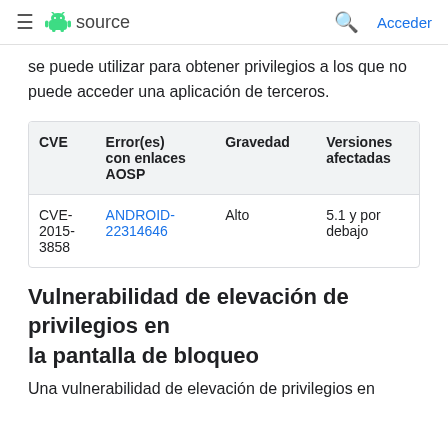≡ 🤖 source   🔍 Acceder
se puede utilizar para obtener privilegios a los que no puede acceder una aplicación de terceros.
| CVE | Error(es) con enlaces AOSP | Gravedad | Versiones afectadas |
| --- | --- | --- | --- |
| CVE-2015-3858 | ANDROID-22314646 | Alto | 5.1 y por debajo |
Vulnerabilidad de elevación de privilegios en la pantalla de bloqueo
Una vulnerabilidad de elevación de privilegios en